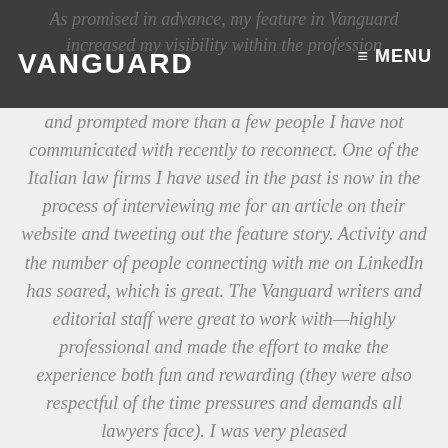VANGUARD    ≡ MENU
and prompted more than a few people I have not communicated with recently to reconnect. One of the Italian law firms I have used in the past is now in the process of interviewing me for an article on their website and tweeting out the feature story. Activity and the number of people connecting with me on LinkedIn has soared, which is great. The Vanguard writers and editorial staff were great to work with—highly professional and made the effort to make the experience both fun and rewarding (they were also respectful of the time pressures and demands all lawyers face). I was very pleased